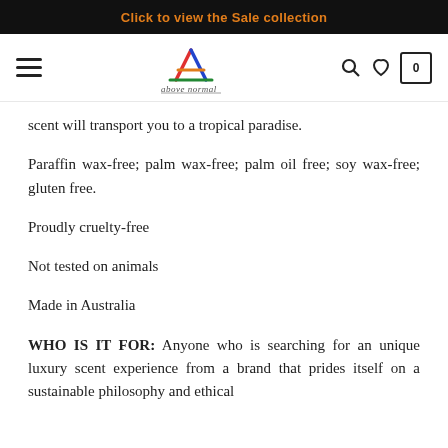Click to view the Sale collection
[Figure (logo): Above Normal brand logo with triangular A symbol and cursive 'above normal' text below]
scent will transport you to a tropical paradise.
Paraffin wax-free; palm wax-free; palm oil free; soy wax-free; gluten free.
Proudly cruelty-free
Not tested on animals
Made in Australia
WHO IS IT FOR: Anyone who is searching for an unique luxury scent experience from a brand that prides itself on a sustainable philosophy and ethical